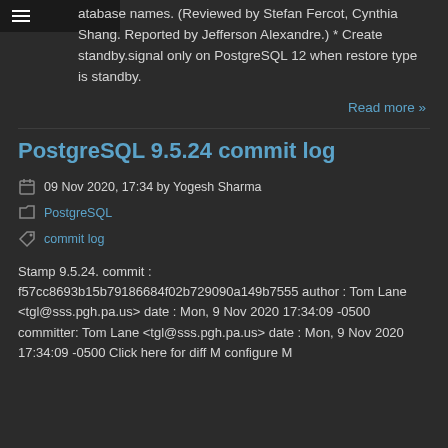atabase names. (Reviewed by Stefan Fercot, Cynthia Shang. Reported by Jefferson Alexandre.) * Create standby.signal only on PostgreSQL 12 when restore type is standby.
Read more »
PostgreSQL 9.5.24 commit log
09 Nov 2020, 17:34 by Yogesh Sharma
PostgreSQL
commit log
Stamp 9.5.24. commit : f57cc8693b15b79186684f02b729090a149b7555 author : Tom Lane <tgl@sss.pgh.pa.us> date : Mon, 9 Nov 2020 17:34:09 -0500 committer: Tom Lane <tgl@sss.pgh.pa.us> date : Mon, 9 Nov 2020 17:34:09 -0500 Click here for diff M configure M